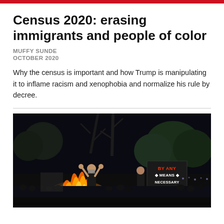Census 2020: erasing immigrants and people of color
MUFFY SUNDE
OCTOBER 2020
Why the census is important and how Trump is manipulating it to inflame racism and xenophobia and normalize his rule by decree.
[Figure (photo): Night protest scene showing people with raised fists and a sign reading 'BY ANY MEANS NECESSARY' in front of a fire, with trees and crowd in the background.]